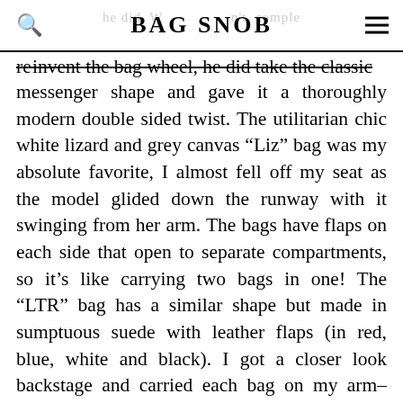BAG SNOB
re-invent the bag wheel, he did take the classic messenger shape and gave it a thoroughly modern double sided twist. The utilitarian chic white lizard and grey canvas “Liz” bag was my absolute favorite, I almost fell off my seat as the model glided down the runway with it swinging from her arm. The bags have flaps on each side that open to separate compartments, so it’s like carrying two bags in one! The “LTR” bag has a similar shape but made in sumptuous suede with leather flaps (in red, blue, white and black). I got a closer look backstage and carried each bag on my arm– they were very well made with pretty brushed